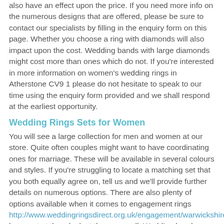also have an effect upon the price. If you need more info on the numerous designs that are offered, please be sure to contact our specialists by filling in the enquiry form on this page. Whether you choose a ring with diamonds will also impact upon the cost. Wedding bands with large diamonds might cost more than ones which do not. If you're interested in more information on women's wedding rings in Atherstone CV9 1 please do not hesitate to speak to our time using the enquiry form provided and we shall respond at the earliest opportunity.
Wedding Rings Sets for Women
You will see a large collection for men and women at our store. Quite often couples might want to have coordinating ones for marriage. These will be available in several colours and styles. If you're struggling to locate a matching set that you both equally agree on, tell us and we'll provide further details on numerous options. There are also plenty of options available when it comes to engagement rings http://www.weddingringsdirect.org.uk/engagement/warwickshire/athers be sure to take a look at these as well. Wedding bands are one of the most significant items you will purchase, as it is a symbol of